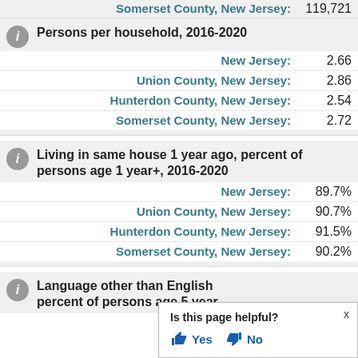Somerset County, New Jersey: 119,721
Persons per household, 2016-2020
New Jersey: 2.66
Union County, New Jersey: 2.86
Hunterdon County, New Jersey: 2.54
Somerset County, New Jersey: 2.72
Living in same house 1 year ago, percent of persons age 1 year+, 2016-2020
New Jersey: 89.7%
Union County, New Jersey: 90.7%
Hunterdon County, New Jersey: 91.5%
Somerset County, New Jersey: 90.2%
Language other than English percent of persons age 5 year
Is this page helpful? Yes No